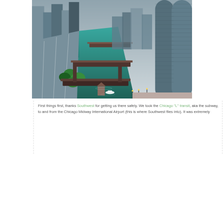[Figure (photo): Aerial view of Chicago River with bridges, skyscrapers including Marina City towers on the right, green trees along the riverwalk, and a boat visible under one of the bridges. The water is a teal-green color.]
First things first, thanks Southwest for getting us there safely. We took the Chicago "L" transit, aka the subway, to and from the Chicago Midway International Airport (this is where Southwest flies into). It was extremely